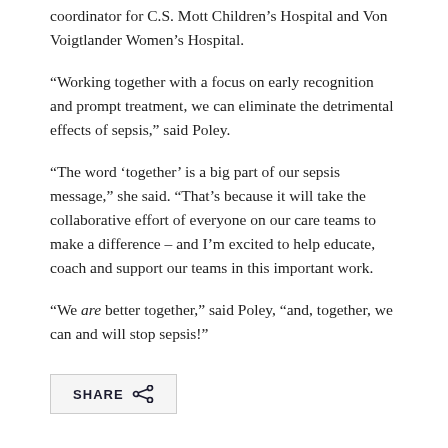coordinator for C.S. Mott Children’s Hospital and Von Voigtlander Women’s Hospital.
“Working together with a focus on early recognition and prompt treatment, we can eliminate the detrimental effects of sepsis,” said Poley.
“The word ‘together’ is a big part of our sepsis message,” she said. “That’s because it will take the collaborative effort of everyone on our care teams to make a difference – and I’m excited to help educate, coach and support our teams in this important work.
“We are better together,” said Poley, “and, together, we can and will stop sepsis!”
[Figure (other): SHARE button with share/network icon]